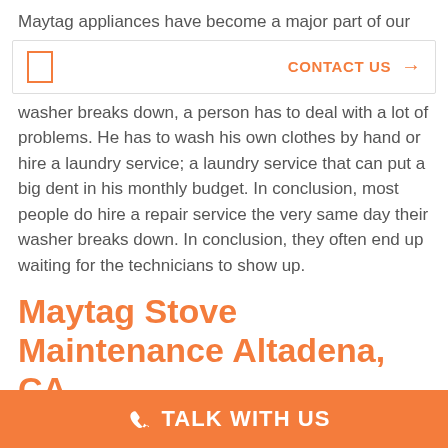Maytag appliances have become a major part of our
[Figure (other): Contact Us navigation bar with orange text and arrow]
washer breaks down, a person has to deal with a lot of problems. He has to wash his own clothes by hand or hire a laundry service; a laundry service that can put a big dent in his monthly budget. In conclusion, most people do hire a repair service the very same day their washer breaks down. In conclusion, they often end up waiting for the technicians to show up.
Maytag Stove Maintenance Altadena, CA
Don't waste your time! Firstly, Call us and schedule
TALK WITH US